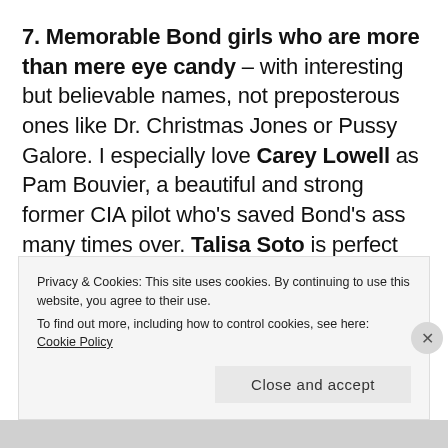7. Memorable Bond girls who are more than mere eye candy – with interesting but believable names, not preposterous ones like Dr. Christmas Jones or Pussy Galore. I especially love Carey Lowell as Pam Bouvier, a beautiful and strong former CIA pilot who's saved Bond's ass many times over. Talisa Soto is perfect as Sanchez's sultry mistress and though she may seem Bimbo-like at times, her
Privacy & Cookies: This site uses cookies. By continuing to use this website, you agree to their use.
To find out more, including how to control cookies, see here: Cookie Policy
Close and accept